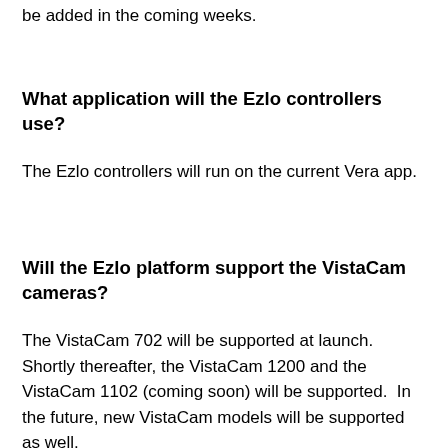be added in the coming weeks.
What application will the Ezlo controllers use?
The Ezlo controllers will run on the current Vera app.
Will the Ezlo platform support the VistaCam cameras?
The VistaCam 702 will be supported at launch. Shortly thereafter, the VistaCam 1200 and the VistaCam 1102 (coming soon) will be supported.  In the future, new VistaCam models will be supported as well.
Will VeraProtect, your monitored security service, be available on the new platform?
Yes. While we will begin calling it Ezlo Protect instead, we